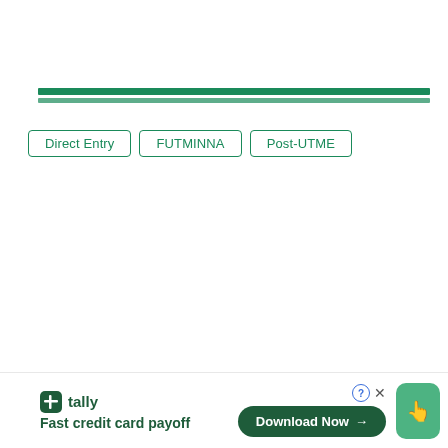[Figure (other): Green horizontal bar separator with two green stripes]
Direct Entry
FUTMINNA
Post-UTME
[Figure (other): Tally advertisement banner: logo, 'Fast credit card payoff', Download Now button, thumbs up icon]